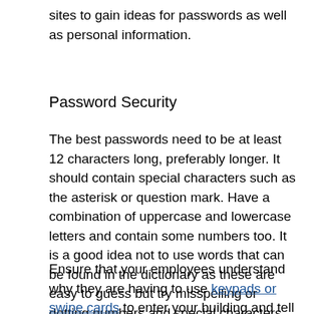sites to gain ideas for passwords as well as personal information.
Password Security
The best passwords need to be at least 12 characters long, preferably longer. It should contain special characters such as the asterisk or question mark. Have a combination of uppercase and lowercase letters and contain some numbers too. It is a good idea not to use words that can be found in the dictionary as these are easy to guess but try misspelling or dotting numbers and special characters throughout your password.
Ensure that your employees understand why they are having to use keypads or swipe cards to enter your building and tell them the importance of not letting someone tailgate